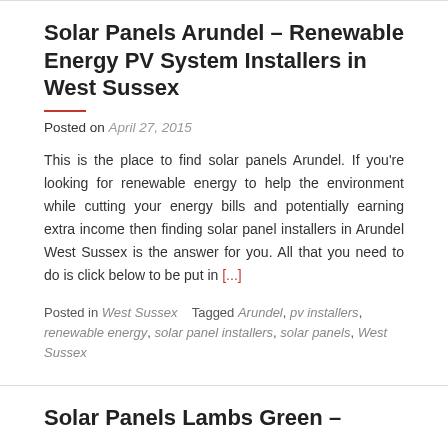Solar Panels Arundel – Renewable Energy PV System Installers in West Sussex
Posted on April 27, 2015
This is the place to find solar panels Arundel. If you're looking for renewable energy to help the environment while cutting your energy bills and potentially earning extra income then finding solar panel installers in Arundel West Sussex is the answer for you. All that you need to do is click below to be put in [...]
Posted in West Sussex    Tagged Arundel, pv installers, renewable energy, solar panel installers, solar panels, West Sussex
Solar Panels Lambs Green –